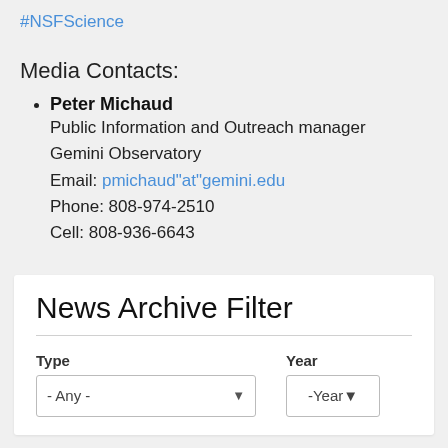#NSFScience
Media Contacts:
Peter Michaud
Public Information and Outreach manager
Gemini Observatory
Email: pmichaud"at"gemini.edu
Phone: 808-974-2510
Cell: 808-936-6643
News Archive Filter
| Type | Year |
| --- | --- |
| -Any- | -Year- |